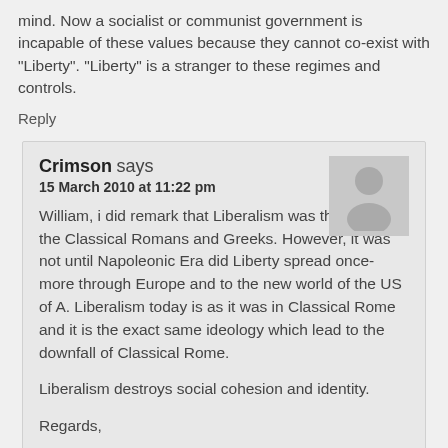mind. Now a socialist or communist government is incapable of these values because they cannot co-exist with "Liberty". "Liberty" is a stranger to these regimes and controls.
Reply
Crimson says
15 March 2010 at 11:22 pm
William, i did remark that Liberalism was the ideal of the Classical Romans and Greeks. However, it was not until Napoleonic Era did Liberty spread once-more through Europe and to the new world of the US of A. Liberalism today is as it was in Classical Rome and it is the exact same ideology which lead to the downfall of Classical Rome.
Liberalism destroys social cohesion and identity.
Regards,